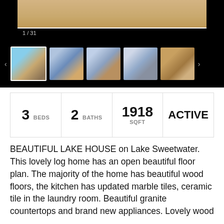[Figure (screenshot): Real estate listing photo gallery with main image (carpet/flooring detail) and thumbnail strip showing 5 property photos. Counter shows 1/31.]
| BEDS | BATHS | SQFT | STATUS |
| --- | --- | --- | --- |
| 3 | 2 | 1918 | ACTIVE |
BEAUTIFUL LAKE HOUSE on Lake Sweetwater. This lovely log home has an open beautiful floor plan. The majority of the home has beautiful wood floors, the kitchen has updated marble tiles, ceramic tile in the laundry room. Beautiful granite countertops and brand new appliances. Lovely wood